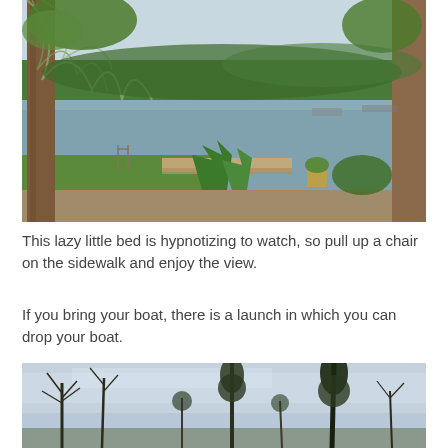[Figure (photo): A riverside scene with large trees draped in Spanish moss, a wooden dock extending into a calm river, green lawn, tropical plants, and lush green trees reflected in the still water across the river.]
This lazy little bed is hypnotizing to watch, so pull up a chair on the sidewalk and enjoy the view.
If you bring your boat, there is a launch in which you can drop your boat.
[Figure (photo): A wide outdoor scene with bare trees silhouetted against a cloudy overcast sky, with tall cypress or pine trees visible in the background.]